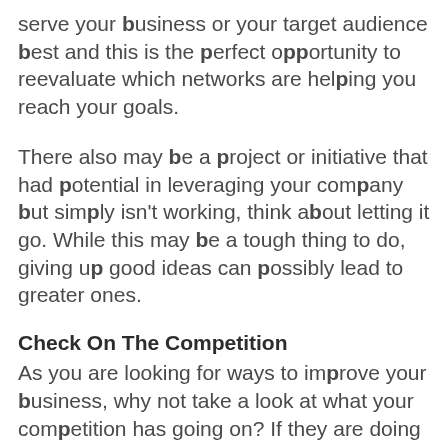serve your business or your target audience best and this is the perfect opportunity to reevaluate which networks are helping you reach your goals.
There also may be a project or initiative that had potential in leveraging your company but simply isn't working, think about letting it go. While this may be a tough thing to do, giving up good ideas can possibly lead to greater ones.
Check On The Competition
As you are looking for ways to improve your business, why not take a look at what your competition has going on? If they are doing something new that appears to be working, it could be interesting to draw from. Thi